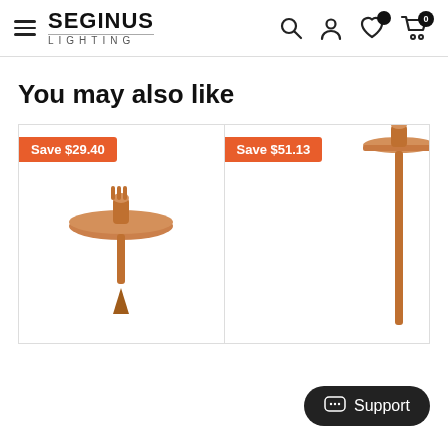[Figure (screenshot): Seginus Lighting e-commerce website header with hamburger menu, logo, and navigation icons (search, account, wishlist with notification, cart with 0 items)]
You may also like
[Figure (photo): Copper landscape lighting fixture with saucer-shaped top and spike/stake base, shown on white background, with orange 'Save $29.40' badge]
[Figure (photo): Copper landscape path light on tall pole with wide flat cap, partially visible on right side, with orange 'Save $51.13' badge]
Support